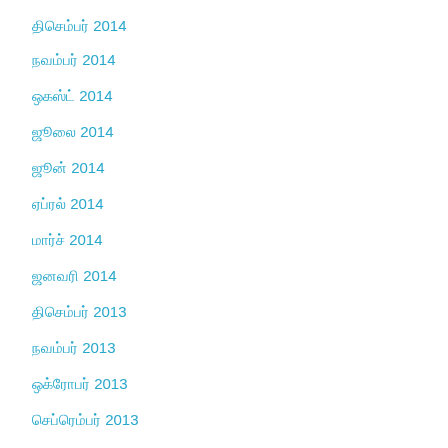திசெம்பர் 2014
நவம்பர் 2014
ஒகஸ்ட் 2014
ஜூலை 2014
ஜூன் 2014
ஏப்ரல் 2014
மார்ச் 2014
ஜனவரி 2014
திசெம்பர் 2013
நவம்பர் 2013
ஒக்ரோபர் 2013
செப்ரெம்பர் 2013